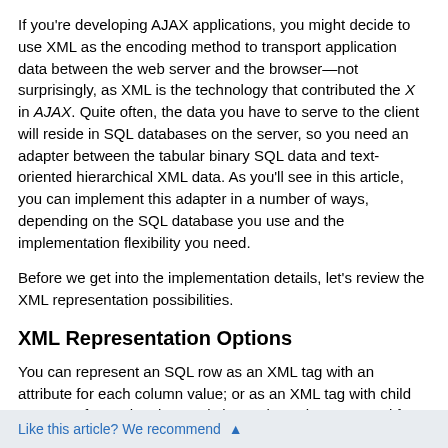If you're developing AJAX applications, you might decide to use XML as the encoding method to transport application data between the web server and the browser—not surprisingly, as XML is the technology that contributed the X in AJAX. Quite often, the data you have to serve to the client will reside in SQL databases on the server, so you need an adapter between the tabular binary SQL data and text-oriented hierarchical XML data. As you'll see in this article, you can implement this adapter in a number of ways, depending on the SQL database you use and the implementation flexibility you need.
Before we get into the implementation details, let's review the XML representation possibilities.
XML Representation Options
You can represent an SQL row as an XML tag with an attribute for each column value; or as an XML tag with child tags, one for each column. Listing 1 shows how a record from a Categories table is represented as a tag with attributes. Listing 2 shows the tag with the child tags format.
Like this article? We recommend